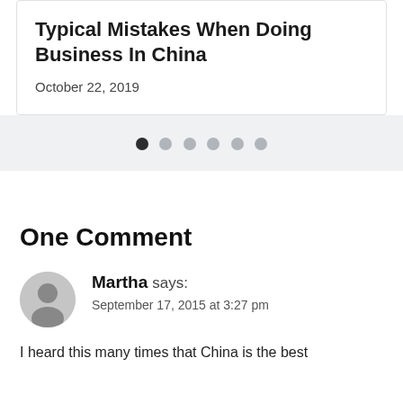Typical Mistakes When Doing Business In China
October 22, 2019
[Figure (other): Pagination dots: one filled dark dot followed by five lighter dots, indicating a carousel position indicator]
One Comment
Martha says:
September 17, 2015 at 3:27 pm
I heard this many times that China is the best